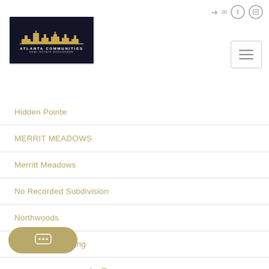[Figure (logo): Atlanta Communities Real Estate Brokerage logo — dark navy background with gold city skyline silhouette, white text 'ATLANTA COMMUNITIES' and smaller text 'REAL ESTATE BROKERAGE']
Hidden Pointe
MERRIT MEADOWS
Merritt Meadows
No Recorded Subdivision
Northwoods
Parks Mill Crossing
Reynolds Lake Oconee
Reynolds Lake Oconee Landing